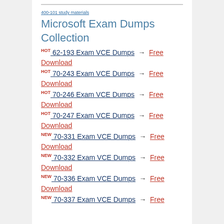400-101 study materials
Microsoft Exam Dumps Collection
HOT 62-193 Exam VCE Dumps → Free Download
HOT 70-243 Exam VCE Dumps → Free Download
HOT 70-246 Exam VCE Dumps → Free Download
HOT 70-247 Exam VCE Dumps → Free Download
NEW 70-331 Exam VCE Dumps → Free Download
NEW 70-332 Exam VCE Dumps → Free Download
NEW 70-336 Exam VCE Dumps → Free Download
NEW 70-337 Exam VCE Dumps → Free